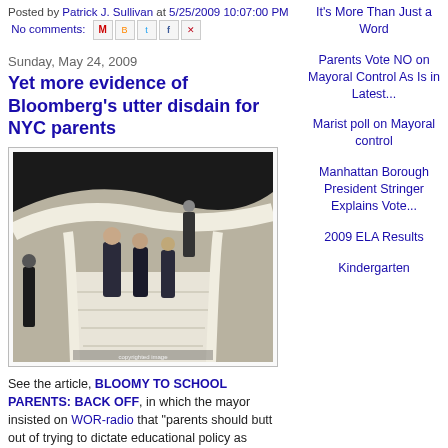Posted by Patrick J. Sullivan at 5/25/2009 10:07:00 PM  No comments:
Sunday, May 24, 2009
Yet more evidence of Bloomberg's utter disdain for NYC parents
[Figure (photo): People walking down a sweeping white curved staircase in a modern building interior]
See the article, BLOOMY TO SCHOOL PARENTS: BACK OFF, in which the mayor insisted on WOR-radio that "parents should butt out of trying to dictate educational policy as
It's More Than Just a Word
Parents Vote NO on Mayoral Control As Is in Latest...
Marist poll on Mayoral control
Manhattan Borough President Stringer Explains Vote...
2009 ELA Results
Kindergarten